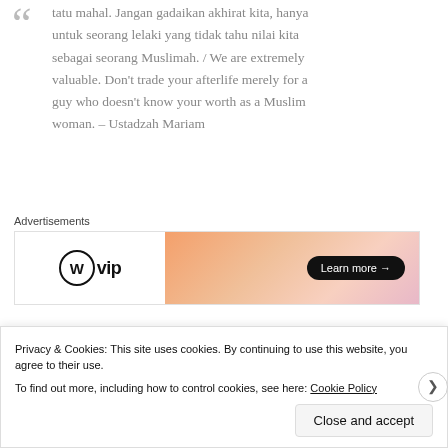tatu mahal. Jangan gadaikan akhirat kita, hanya untuk seorang lelaki yang tidak tahu nilai kita sebagai seorang Muslimah. / We are extremely valuable. Don't trade your afterlife merely for a guy who doesn't know your worth as a Muslim woman. – Ustadzah Mariam
[Figure (other): WordPress VIP advertisement banner with gradient orange/pink background and 'Learn more' button]
Know your intention for getting married. Get to know why Allah created us. Know that if we are destined to be
Privacy & Cookies: This site uses cookies. By continuing to use this website, you agree to their use.
To find out more, including how to control cookies, see here: Cookie Policy